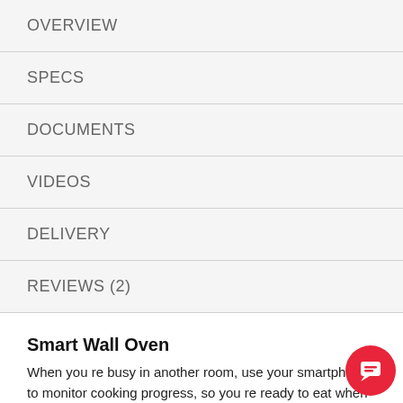OVERVIEW
SPECS
DOCUMENTS
VIDEOS
DELIVERY
REVIEWS (2)
Smart Wall Oven
When you re busy in another room, use your smartphone to monitor cooking progress, so you re ready to eat when dinner s done.
Yummly® Guided Cooking
Yummly® Guided Cooking makes meal prep easier by helping you answer the question what s for dinner" before it s even asked. Recipes with the Connected Fork icon in